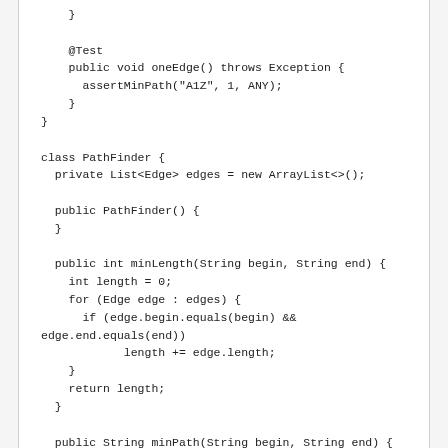}

    @Test
    public void oneEdge() throws Exception {
      assertMinPath("A1Z", 1, ANY);
    }
}

class PathFinder {
  private List<Edge> edges = new ArrayList<>();

  public PathFinder() {
  }

  public int minLength(String begin, String end) {
    int length = 0;
    for (Edge edge : edges) {
      if (edge.begin.equals(begin) &&
edge.end.equals(end))
            length += edge.length;
    }
    return length;
  }

  public String minPath(String begin, String end) {
    return "{}";
  }

  public void addEdge(String start, String end, int
length) {